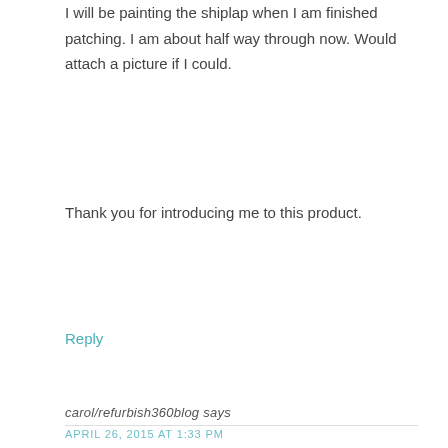I will be painting the shiplap when I am finished patching. I am about half way through now. Would attach a picture if I could.
Thank you for introducing me to this product.
Reply
carol/refurbish360blog says
APRIL 26, 2015 AT 1:33 PM